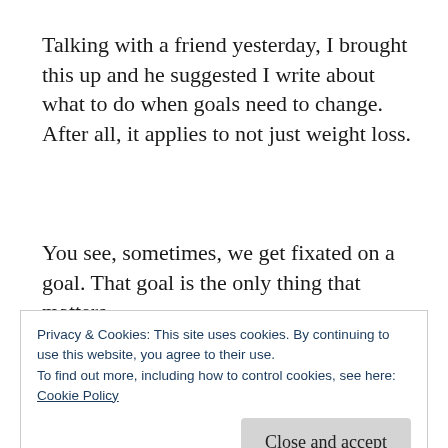Talking with a friend yesterday, I brought this up and he suggested I write about what to do when goals need to change. After all, it applies to not just weight loss.
You see, sometimes, we get fixated on a goal. That goal is the only thing that matters.
That's not necessarily a problem. It's what drives successful people to reach their goals.
Privacy & Cookies: This site uses cookies. By continuing to use this website, you agree to their use.
To find out more, including how to control cookies, see here: Cookie Policy
However, sometimes, goals need to change.